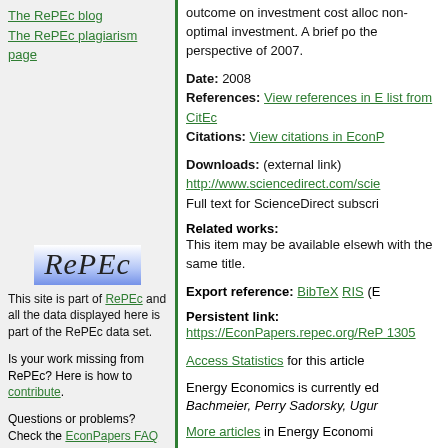The RePEc blog
The RePEc plagiarism page
[Figure (logo): RePEc logo with italic serif text on blue gradient background]
This site is part of RePEc and all the data displayed here is part of the RePEc data set.
Is your work missing from RePEc? Here is how to contribute.
Questions or problems? Check the EconPapers FAQ or send mail to econpapers@oru.se.
EconPapers is hosted by the Örebro University School of
outcome on investment cost alloc non-optimal investment. A brief po the perspective of 2007.
Date: 2008
References: View references in E list from CitEc
Citations: View citations in EconP
Downloads: (external link) http://www.sciencedirect.com/scie Full text for ScienceDirect subscri
Related works:
This item may be available elsewh with the same title.
Export reference: BibTeX RIS (E
Persistent link:
https://EconPapers.repec.org/ReP 1305
Access Statistics for this article
Energy Economics is currently ed Bachmeier, Perry Sadorsky, Ugur
More articles in Energy Economi